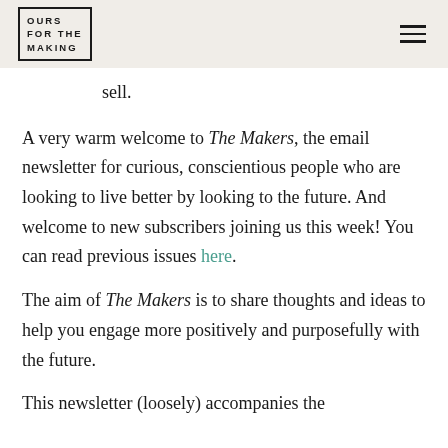OURS FOR THE MAKING
sell.
A very warm welcome to The Makers, the email newsletter for curious, conscientious people who are looking to live better by looking to the future. And welcome to new subscribers joining us this week! You can read previous issues here.
The aim of The Makers is to share thoughts and ideas to help you engage more positively and purposefully with the future.
This newsletter (loosely) accompanies the